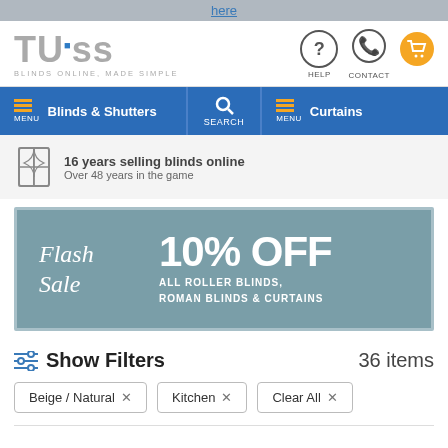here
[Figure (logo): TUISS logo with tagline BLINDS ONLINE, MADE SIMPLE, plus Help, Contact and Cart icons]
[Figure (infographic): Navigation bar with Blinds & Shutters menu, Search, and Curtains menu]
16 years selling blinds online. Over 48 years in the game
[Figure (infographic): Flash Sale banner: 10% OFF ALL ROLLER BLINDS, ROMAN BLINDS & CURTAINS]
Show Filters   36 items
Beige / Natural ×
Kitchen ×
Clear All ×